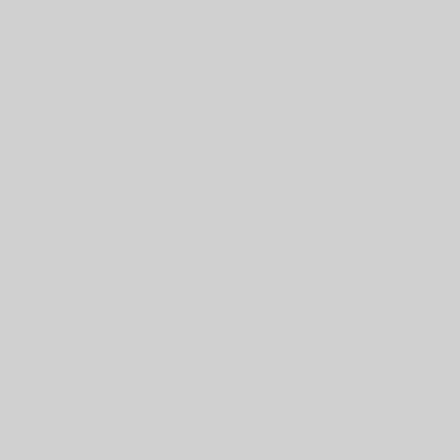[The prepared statement of Se…
We now turn to Senator Bayh, el…
PRESENTATION OF JOHN G.
CHIEF JUSTICE OF THE UNIT… STATE OF INDIANA
Senator BAYH. Thank you very … Committee.
There is not nearly enough civili… bipartisan tradition to introduce s…
I am pleased to join with my f… you, John Roberts.
John Roberts grew up in northwe… two lovely children. Jack and Jo…
At only 50, Judge Roberts has… He has argued 39 cases before o… and win one case before our Nat… much through hard work and gre…
If confirmed as Chief Justice o… During that time, the Court will … civil rights, to women's rights, to… discussion of his views on these…